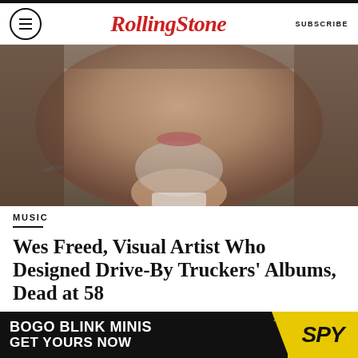Rolling Stone  SUBSCRIBE
[Figure (photo): Close-up portrait photo of a man with long gray hair, goatee, tattoos on shoulder, wearing a white tank top]
MUSIC
Wes Freed, Visual Artist Who Designed Drive-By Truckers' Albums, Dead at 58
BY JOSEPH HUDAK
[Figure (photo): Partial photo visible at bottom of page, partially obscured by advertisement]
[Figure (other): Advertisement banner: BOGO BLINK MINIS GET YOURS NOW with SPY logo in yellow]